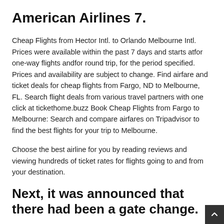American Airlines 7.
Cheap Flights from Hector Intl. to Orlando Melbourne Intl. Prices were available within the past 7 days and starts atfor one-way flights andfor round trip, for the period specified. Prices and availability are subject to change. Find airfare and ticket deals for cheap flights from Fargo, ND to Melbourne, FL. Search flight deals from various travel partners with one click at tickethome.buzz Book Cheap Flights from Fargo to Melbourne: Search and compare airfares on Tripadvisor to find the best flights for your trip to Melbourne.
Choose the best airline for you by reading reviews and viewing hundreds of ticket rates for flights going to and from your destination.
Next, it was announced that there had been a gate change.